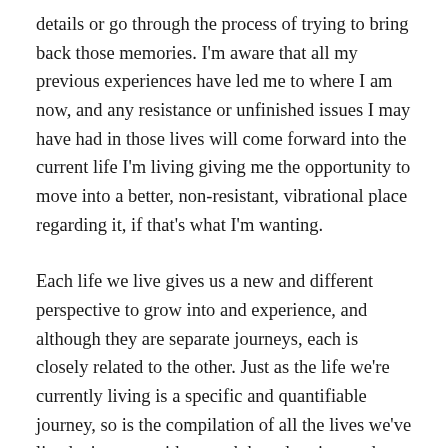details or go through the process of trying to bring back those memories. I'm aware that all my previous experiences have led me to where I am now, and any resistance or unfinished issues I may have had in those lives will come forward into the current life I'm living giving me the opportunity to move into a better, non-resistant, vibrational place regarding it, if that's what I'm wanting.
Each life we live gives us a new and different perspective to grow into and experience, and although they are separate journeys, each is closely related to the other. Just as the life we're currently living is a specific and quantifiable journey, so is the compilation of all the lives we've lived a journey with a much broader view and deeper understanding than the individual life we're living. Our Non-Physical counterpart is communicating